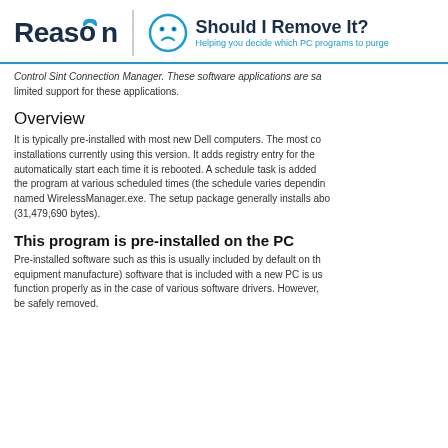[Figure (logo): Reason logo and Should I Remove It? logo with tagline 'Helping you decide which PC programs to purge']
Control Sint Connection Manager. These software applications are sa limited support for these applications.
Overview
It is typically pre-installed with most new Dell computers. The most co installations currently using this version. It adds registry entry for the automatically start each time it is rebooted. A schedule task is added the program at various scheduled times (the schedule varies dependin named WirelessManager.exe. The setup package generally installs abo (31,479,690 bytes).
This program is pre-installed on the PC
Pre-installed software such as this is usually included by default on th equipment manufacture) software that is included with a new PC is us function properly as in the case of various software drivers. However, be safely removed.